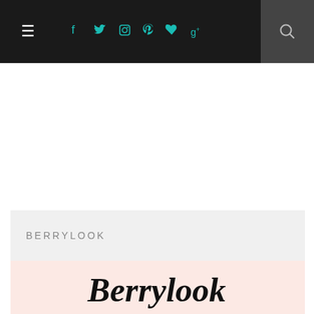Navigation bar with hamburger menu, social icons (Facebook, Twitter, Instagram, Pinterest, heart, Google+), and search icon
[Figure (screenshot): Blank white content area below the navigation bar]
BERRYLOOK
[Figure (logo): Berrylook cursive script logo on a light pink/peach background]